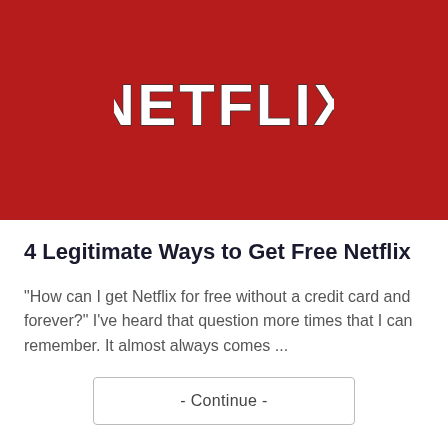[Figure (logo): Netflix logo — white bold block letters on dark red background]
4 Legitimate Ways to Get Free Netflix
"How can I get Netflix for free without a credit card and forever?" I've heard that question more times that I can remember. It almost always comes ...
- Continue -